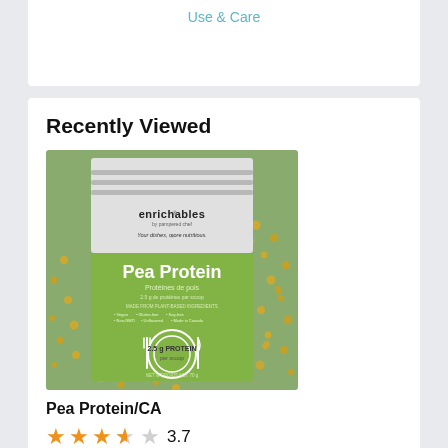Use & Care
Recently Viewed
[Figure (photo): Product photo of enrichables Pea Protein powder bag (green and white packaging) by pampered chef, with split peas scattered around it on a green background. The bag shows '2.5 g PROTEIN per scoop' and various badges like Vegan, Gluten-free, Soy-free, Non-GMO, Unflavored, Made in Canada.]
Pea Protein/CA
3.7